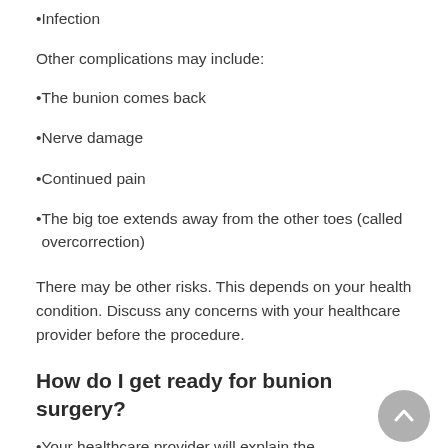Infection
Other complications may include:
The bunion comes back
Nerve damage
Continued pain
The big toe extends away from the other toes (called overcorrection)
There may be other risks. This depends on your health condition. Discuss any concerns with your healthcare provider before the procedure.
How do I get ready for bunion surgery?
Your healthcare provider will explain the